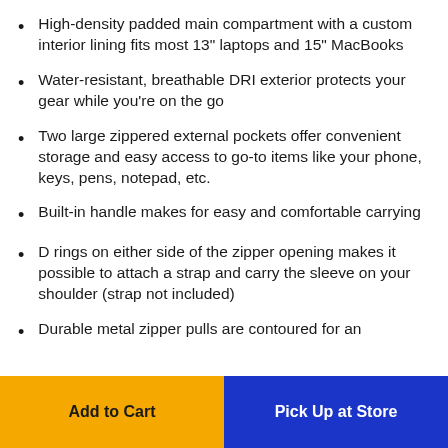High-density padded main compartment with a custom interior lining fits most 13" laptops and 15" MacBooks
Water-resistant, breathable DRI exterior protects your gear while you're on the go
Two large zippered external pockets offer convenient storage and easy access to go-to items like your phone, keys, pens, notepad, etc.
Built-in handle makes for easy and comfortable carrying
D rings on either side of the zipper opening makes it possible to attach a strap and carry the sleeve on your shoulder (strap not included)
Durable metal zipper pulls are contoured for an
Add to Cart | Pick Up at Store